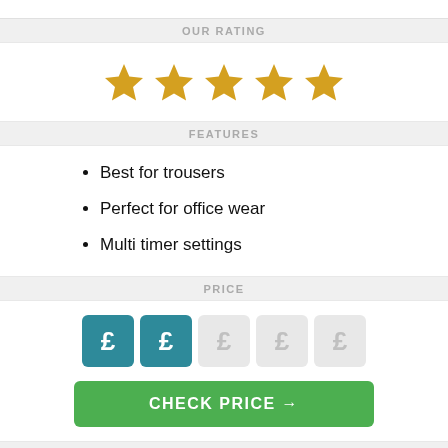OUR RATING
[Figure (infographic): Five gold stars rating display (all five stars filled golden/yellow)]
FEATURES
Best for trousers
Perfect for office wear
Multi timer settings
PRICE
[Figure (infographic): Price rating icons: 2 filled teal pound sign icons and 3 greyed-out pound sign icons, followed by a green CHECK PRICE button]
CHECK PRICE →